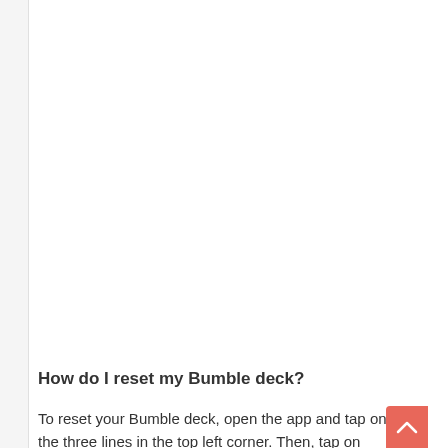How do I reset my Bumble deck?
To reset your Bumble deck, open the app and tap on the three lines in the top left corner. Then, tap on